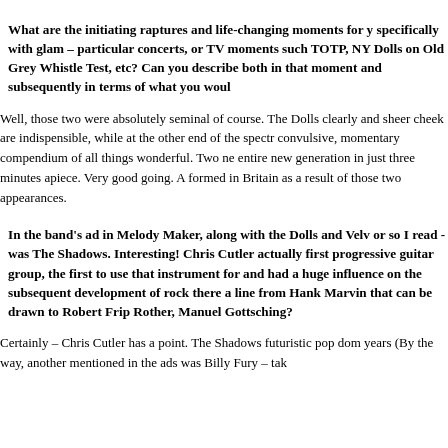What are the initiating raptures and life-changing moments for you specifically with glam – particular concerts, or TV moments such as TOTP, NY Dolls on Old Grey Whistle Test, etc? Can you describe both in that moment and subsequently in terms of what you woul...
Well, those two were absolutely seminal of course. The Dolls clearly and sheer cheek are indispensible, while at the other end of the spectr... convulsive, momentary compendium of all things wonderful. Two ne... entire new generation in just three minutes apiece. Very good going. A... formed in Britain as a result of those two appearances.
In the band's ad in Melody Maker, along with the Dolls and Velv... or so I read - was The Shadows. Interesting! Chris Cutler actually first progressive guitar group, the first to use that instrument for... and had a huge influence on the subsequent development of rock... there a line from Hank Marvin that can be drawn to Robert Frip... Rother, Manuel Gottsching?
Certainly – Chris Cutler has a point. The Shadows futuristic pop dom... years (By the way, another mentioned in the ads was Billy Fury – tak...